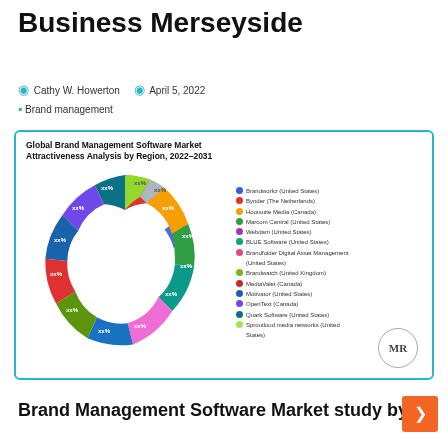Business Merseyside
Cathy W. Howerton   April 5, 2022
Brand management
[Figure (donut-chart): Global Brand Management Software Market Attractiveness Analysis by Region, 2022–2031]
Brand Management Software Market study by